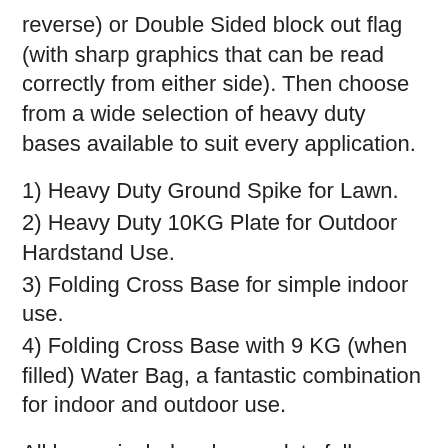reverse) or Double Sided block out flag (with sharp graphics that can be read correctly from either side). Then choose from a wide selection of heavy duty bases available to suit every application.
1) Heavy Duty Ground Spike for Lawn.
2) Heavy Duty 10KG Plate for Outdoor Hardstand Use.
3) Folding Cross Base for simple indoor use.
4) Folding Cross Base with 9 KG (when filled) Water Bag, a fantastic combination for indoor and outdoor use.
All bases include a heavy duty fully enclosed ball bearing spindle to allow flags to swivel with the breeze and our Pole Kits are built with strong CE Certified epoxy fiberglass with double steel sleeve reinforcement at the base. Print Shop Bow Banner Flags... Great Looking, Portable, Strong and Super...